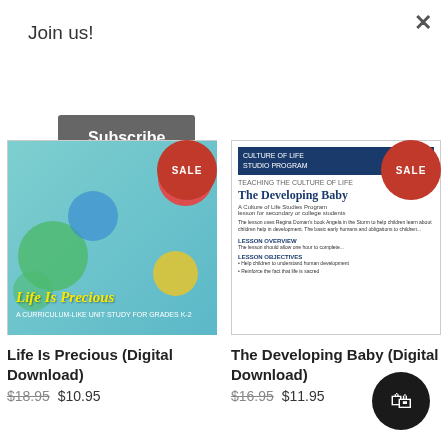Join us!
Subscribe
[Figure (illustration): Book cover: Life Is Precious - A Curriculum-Like Unit Study for Grades K-2, featuring colorful circles and photos of children]
[Figure (illustration): Document cover: The Developing Baby - Culture of Life Studio Program teaching guide]
Life Is Precious (Digital Download)
$18.95 $10.95
The Developing Baby (Digital Download)
$16.95 $11.95